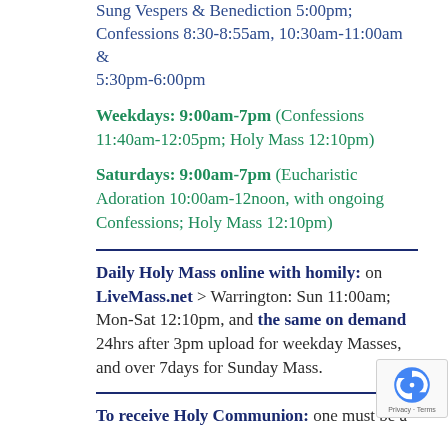Sung Vespers & Benediction 5:00pm; Confessions 8:30-8:55am, 10:30am-11:00am & 5:30pm-6:00pm
Weekdays: 9:00am-7pm (Confessions 11:40am-12:05pm; Holy Mass 12:10pm)
Saturdays: 9:00am-7pm (Eucharistic Adoration 10:00am-12noon, with ongoing Confessions; Holy Mass 12:10pm)
Daily Holy Mass online with homily: on LiveMass.net > Warrington: Sun 11:00am; Mon-Sat 12:10pm, and the same on demand 24hrs after 3pm upload for weekday Masses, and over 7days for Sunday Mass.
To receive Holy Communion: one must be a